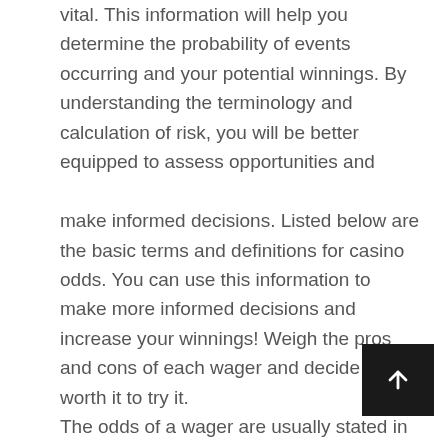vital. This information will help you determine the probability of events occurring and your potential winnings. By understanding the terminology and calculation of risk, you will be better equipped to assess opportunities and

make informed decisions. Listed below are the basic terms and definitions for casino odds. You can use this information to make more informed decisions and increase your winnings! Weigh the pros and cons of each wager and decide if it is worth it to try it.
The odds of a wager are usually stated in decimal format. Decimal odds are displayed as a ratio that shows the amount of money you can win for every dollar you wager. Favorites have a lower number, while underdogs have a higher number. Different types of wagers have different odds